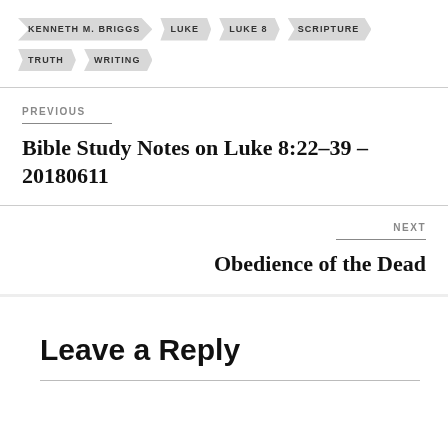KENNETH M. BRIGGS
LUKE
LUKE 8
SCRIPTURE
TRUTH
WRITING
PREVIOUS
Bible Study Notes on Luke 8:22–39 – 20180611
NEXT
Obedience of the Dead
Leave a Reply